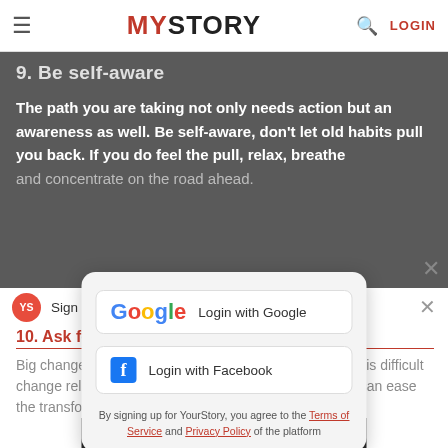MYSTORY — navigation bar with LOGIN
9. Be self-aware
The path you are taking not only needs action but an awareness as well. Be self-aware, don't let old habits pull you back. If you do feel the pull, relax, breathe and concentrate on the road ahead.
Sign up to YourStory
10. Ask for help
Big changes in life can need asking for help can make this difficult change relatively easy. Support from family and friends can ease the transformation you aspire.
Login with Google
Login with Facebook
By signing up for YourStory, you agree to the Terms of Service and Privacy Policy of the platform